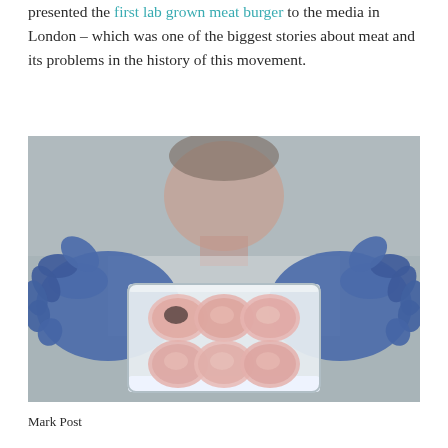presented the first lab grown meat burger to the media in London – which was one of the biggest stories about meat and its problems in the history of this movement.
[Figure (photo): A scientist wearing blue latex gloves holds up a clear plastic multi-well cell culture tray containing pink tissue samples (lab-grown meat cells). The scientist's face is blurred in the background.]
Mark Post